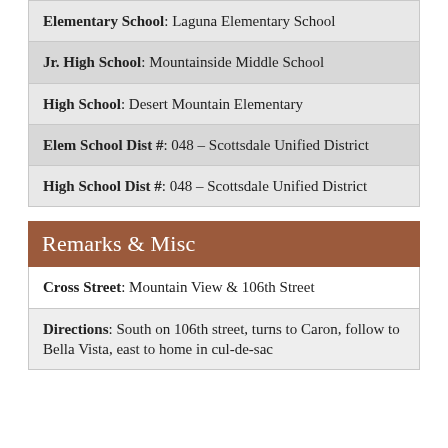| Elementary School: Laguna Elementary School |
| Jr. High School: Mountainside Middle School |
| High School: Desert Mountain Elementary |
| Elem School Dist #: 048 - Scottsdale Unified District |
| High School Dist #: 048 - Scottsdale Unified District |
Remarks & Misc
| Cross Street: Mountain View & 106th Street |
| Directions: South on 106th street, turns to Caron, follow to Bella Vista, east to home in cul-de-sac |